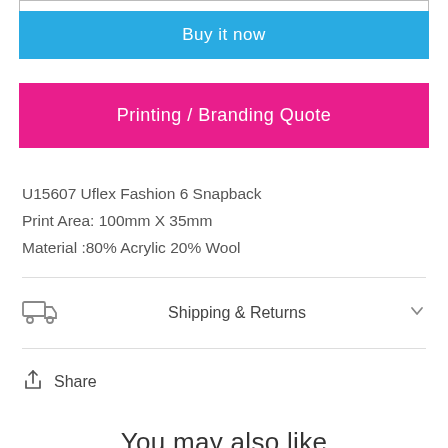Buy it now
Printing / Branding Quote
U15607 Uflex Fashion 6 Snapback
Print Area: 100mm X 35mm
Material :80% Acrylic 20% Wool
Shipping & Returns
Share
You may also like